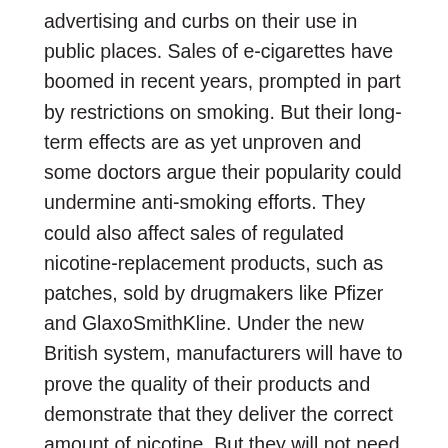advertising and curbs on their use in public places. Sales of e-cigarettes have boomed in recent years, prompted in part by restrictions on smoking. But their long-term effects are as yet unproven and some doctors argue their popularity could undermine anti-smoking efforts. They could also affect sales of regulated nicotine-replacement products, such as patches, sold by drugmakers like Pfizer and GlaxoSmithKline. Under the new British system, manufacturers will have to prove the quality of their products and demonstrate that they deliver the correct amount of nicotine. But they will not need to conduct clinical trials. The Medicines and Healthcare products Regulatory Agency (MHRA) said on Wednesday that existing e-cigarettes on the market were not good enough, with contaminants found in some products and nicotine levels often varying widely. However, manufacturers will have time to raise their game and apply for a license, allowing them to sell regulated devices as over-the-counter products in a wide range of retail outlets from